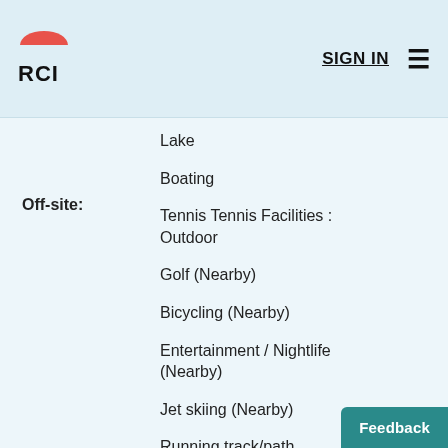[Figure (logo): RCI logo with red semicircle icon and bold RCI text]
SIGN IN
Lake
Boating
Tennis Tennis Facilities : Outdoor
Off-site:
Golf (Nearby)
Bicycling (Nearby)
Entertainment / Nightlife (Nearby)
Jet skiing (Nearby)
Running track/path (Nearby)
Show More +